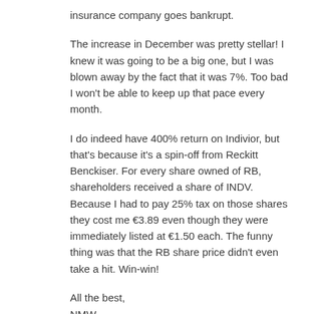insurance company goes bankrupt.
The increase in December was pretty stellar! I knew it was going to be a big one, but I was blown away by the fact that it was 7%. Too bad I won't be able to keep up that pace every month.
I do indeed have 400% return on Indivior, but that's because it's a spin-off from Reckitt Benckiser. For every share owned of RB, shareholders received a share of INDV. Because I had to pay 25% tax on those shares they cost me €3.89 even though they were immediately listed at €1.50 each. The funny thing was that the RB share price didn't even take a hit. Win-win!
All the best,
NMW
↳ Reply